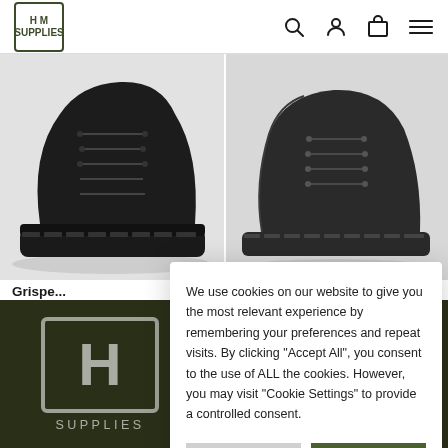HM Supplies — navigation header with search, account, cart, and menu icons
[Figure (photo): Black hiking/tactical boot, left product panel]
[Figure (photo): Black military/tactical boot, right product panel]
Grispe... Peakl...
£92.00
We use cookies on our website to give you the most relevant experience by remembering your preferences and repeat visits. By clicking "Accept All", you consent to the use of ALL the cookies. However, you may visit "Cookie Settings" to provide a controlled consent.
COOKIE SETTINGS
ACCEPT ALL
[Figure (logo): HM Supplies large logo in white on dark green footer background]